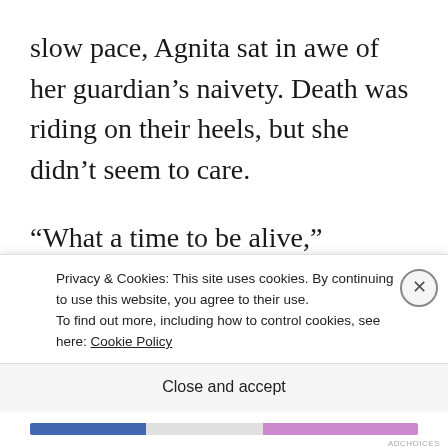slow pace, Agnita sat in awe of her guardian’s naivety. Death was riding on their heels, but she didn’t seem to care.
“What a time to be alive,” someone grumbled in the wagon ahead of them.
Agnita’s face flamed as she thought of Frenz and Viggo. They were smart. Both had survived battles before. She told herself that they would know when
Privacy & Cookies: This site uses cookies. By continuing to use this website, you agree to their use.
To find out more, including how to control cookies, see here: Cookie Policy
Close and accept